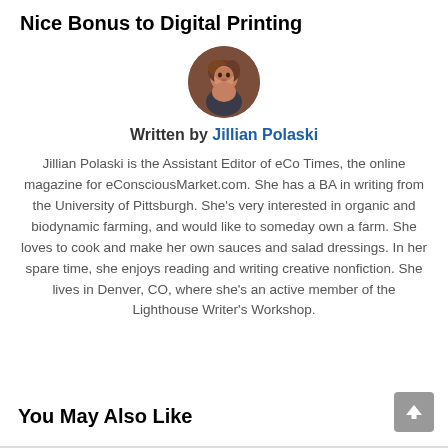Nice Bonus to Digital Printing
[Figure (photo): Circular author photo of Jillian Polaski, a woman with reddish-brown hair]
Written by Jillian Polaski
Jillian Polaski is the Assistant Editor of eCo Times, the online magazine for eConsciousMarket.com. She has a BA in writing from the University of Pittsburgh. She's very interested in organic and biodynamic farming, and would like to someday own a farm. She loves to cook and make her own sauces and salad dressings. In her spare time, she enjoys reading and writing creative nonfiction. She lives in Denver, CO, where she's an active member of the Lighthouse Writer's Workshop.
You May Also Like